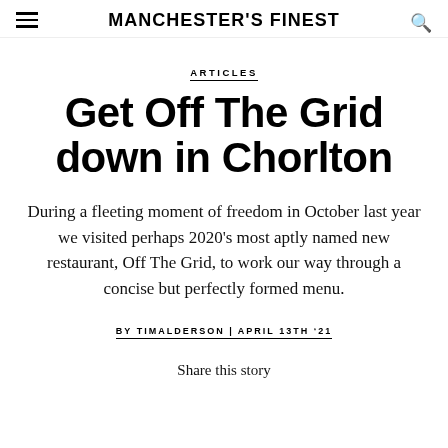MANCHESTER'S FINEST
ARTICLES
Get Off The Grid down in Chorlton
During a fleeting moment of freedom in October last year we visited perhaps 2020's most aptly named new restaurant, Off The Grid, to work our way through a concise but perfectly formed menu.
BY TIMALDERSON | APRIL 13TH '21
Share this story